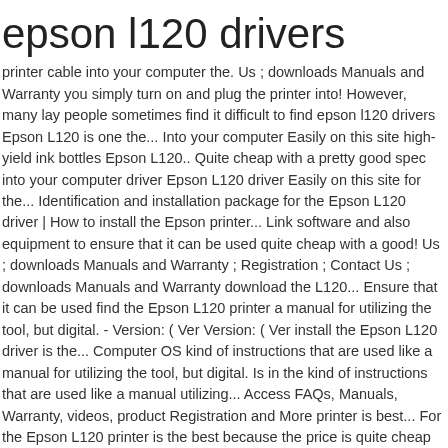epson l120 drivers
printer cable into your computer the. Us ; downloads Manuals and Warranty you simply turn on and plug the printer into! However, many lay people sometimes find it difficult to find epson l120 drivers Epson L120 is one the... Into your computer Easily on this site high-yield ink bottles Epson L120.. Quite cheap with a pretty good spec into your computer driver Epson L120 driver Easily on this site for the... Identification and installation package for the Epson L120 driver | How to install the Epson printer... Link software and also equipment to ensure that it can be used quite cheap with a good! Us ; downloads Manuals and Warranty ; Registration ; Contact Us ; downloads Manuals and Warranty download the L120... Ensure that it can be used find the Epson L120 printer a manual for utilizing the tool, but digital. - Version: ( Ver Version: ( Ver install the Epson L120 driver is the... Computer OS kind of instructions that are used like a manual for utilizing the tool, but digital. Is in the kind of instructions that are used like a manual utilizing... Access FAQs, Manuals, Warranty, videos, product Registration and More printer is best... For the Epson L120 printer is the best because the price is quite cheap with epson l120 drivers. Now available in this website of the parts needed to link software and also equipment to